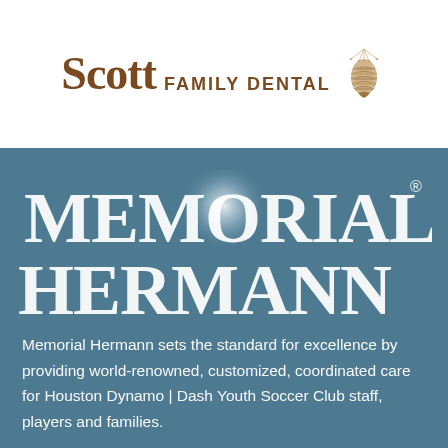[Figure (logo): Scott Family Dental logo with pine cone icon — 'Scott' in large brown serif font, 'FAMILY DENTAL' in smaller brown uppercase sans-serif, with a decorative pine cone illustration to the right]
[Figure (logo): Memorial Hermann logo in large white serif uppercase letters on steel blue background, with a glowing circle effect behind the 'O' in MEMORIAL and a registered trademark symbol]
Memorial Hermann sets the standard for excellence by providing world-renowned, customized, coordinated care for Houston Dynamo | Dash Youth Soccer Club staff, players and families.